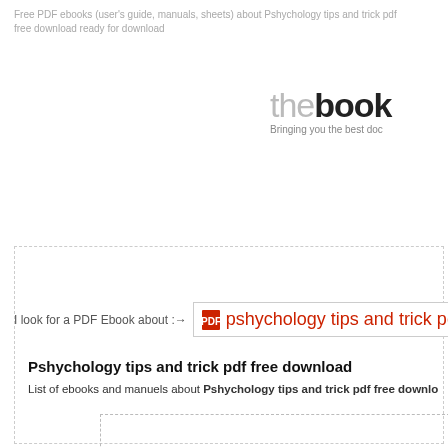Free PDF ebooks (user's guide, manuals, sheets) about Pshychology tips and trick pdf free download ready for download
[Figure (logo): thebook logo with tagline 'Bringing you the best doc']
I look for a PDF Ebook about :→  pshychology tips and trick pd
Pshychology tips and trick pdf free download
List of ebooks and manuels about Pshychology tips and trick pdf free download